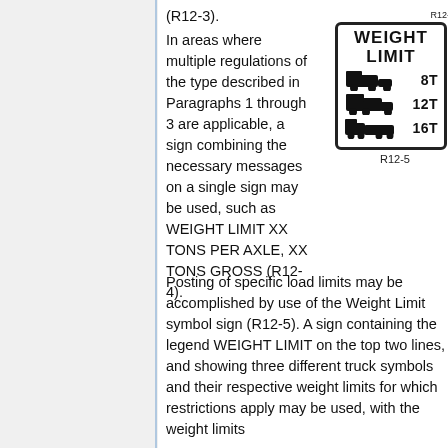(R12-3).
In areas where multiple regulations of the type described in Paragraphs 1 through 3 are applicable, a sign combining the necessary messages on a single sign may be used, such as WEIGHT LIMIT XX TONS PER AXLE, XX TONS GROSS (R12-4).
[Figure (illustration): Road sign R12-4: WEIGHT LIMIT sign showing three truck symbols with weight limits 8T, 12T, and 16T respectively]
Posting of specific load limits may be accomplished by use of the Weight Limit symbol sign (R12-5). A sign containing the legend WEIGHT LIMIT on the top two lines, and showing three different truck symbols and their respective weight limits for which restrictions apply may be used, with the weight limits